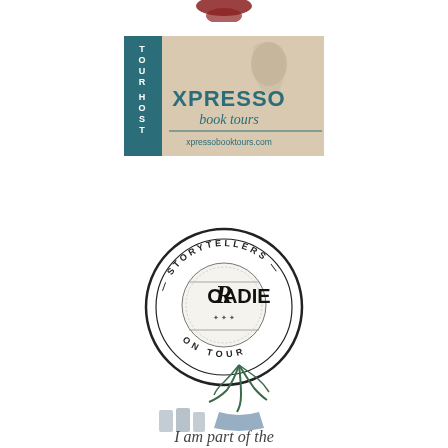[Figure (logo): Partial red/dark logo at top center, cropped]
[Figure (logo): Xpresso Book Tours Tour Host badge - teal sidebar with 'TOUR HOST' vertically, beige background with silhouette figure, 'XPRESSO book tours' text and 'xpressobooktours.com' at bottom]
[Figure (logo): Storytellers Roadie On Tour circular badge logo in black and white with ornate letterpress style]
[Figure (logo): Partial 'I am part of the' handwritten text with plant graphic, cropped at bottom]